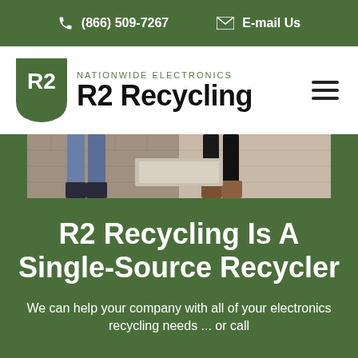(866) 509-7267   E-mail Us
[Figure (logo): R2 Recycling shield logo with text 'NATIONWIDE ELECTRONICS R2 Recycling']
[Figure (photo): Photo strip showing people walking on cobblestone street, visible from waist down]
R2 Recycling Is A Single-Source Recycler
We can help your company with all of your electronics recycling needs ... or call